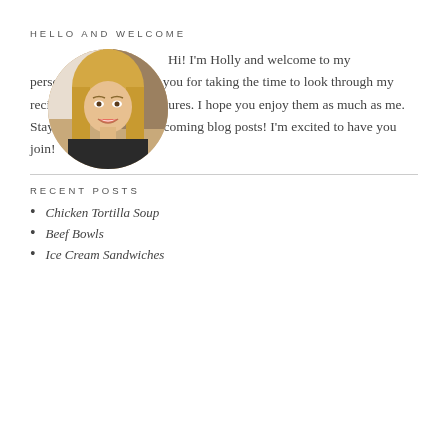HELLO AND WELCOME
[Figure (photo): Circular profile photo of a smiling blonde woman]
Hi! I'm Holly and welcome to my personal blog and thank you for taking the time to look through my recipes and hiking adventures. I hope you enjoy them as much as me. Stay connected to see upcoming blog posts! I'm excited to have you join!
RECENT POSTS
Chicken Tortilla Soup
Beef Bowls
Ice Cream Sandwiches